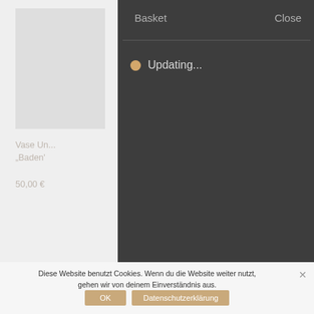[Figure (screenshot): Website shopping basket overlay panel with dark background showing 'Basket' header and 'Close' button, with a loading indicator 'Updating...' and a partially visible product page behind it showing a vase product titled 'Vase Un... Baden' priced at 50,00 €]
Basket
Close
Updating...
Vase Un...
„Baden'
50,00 €
Diese Website benutzt Cookies. Wenn du die Website weiter nutzt, gehen wir von deinem Einverständnis aus.
OK
Datenschutzerklärung